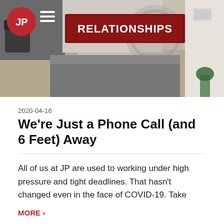[Figure (photo): Office interior photo showing a dark red 'RELATIONSHIPS' sign mounted on a wall, with gears design visible and an office space in the background. A JP logo (red circle with white JP text) and navigation menu icon appear in the top left overlay.]
2020-04-16
We're Just a Phone Call (and 6 Feet) Away
All of us at JP are used to working under high pressure and tight deadlines. That hasn't changed even in the face of COVID-19. Take
MORE ›